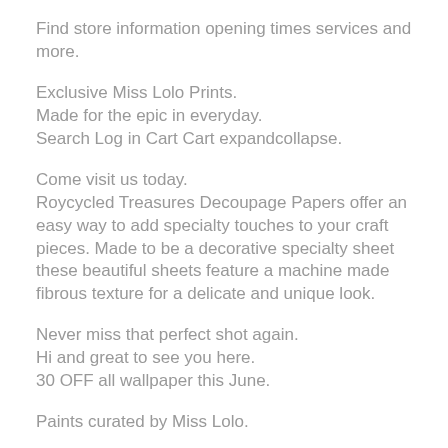Find store information opening times services and more.
Exclusive Miss Lolo Prints.
Made for the epic in everyday.
Search Log in Cart Cart expandcollapse.
Come visit us today.
Roycycled Treasures Decoupage Papers offer an easy way to add specialty touches to your craft pieces. Made to be a decorative specialty sheet these beautiful sheets feature a machine made fibrous texture for a delicate and unique look.
Never miss that perfect shot again.
Hi and great to see you here.
30 OFF all wallpaper this June.
Paints curated by Miss Lolo.